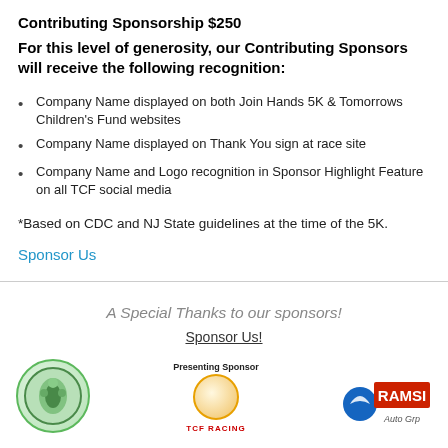Contributing Sponsorship $250
For this level of generosity, our Contributing Sponsors will receive the following recognition:
Company Name displayed on both Join Hands 5K & Tomorrows Children's Fund websites
Company Name displayed on Thank You sign at race site
Company Name and Logo recognition in Sponsor Highlight Feature on all TCF social media
*Based on CDC and NJ State guidelines at the time of the 5K.
Sponsor Us
A Special Thanks to our sponsors!
Sponsor Us!
[Figure (logo): Logos section: green circle logo on left, center column with small circle logo and Presenting Sponsor label, Ramsi Auto Group logo on right]